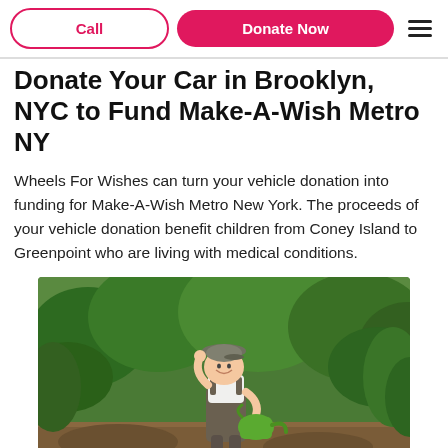Call | Donate Now
Donate Your Car in Brooklyn, NYC to Fund Make-A-Wish Metro NY
Wheels For Wishes can turn your vehicle donation into funding for Make-A-Wish Metro New York. The proceeds of your vehicle donation benefit children from Coney Island to Greenpoint who are living with medical conditions.
[Figure (photo): A smiling toddler wearing a flat cap and overalls, holding a green watering can, standing outdoors among green garden foliage.]